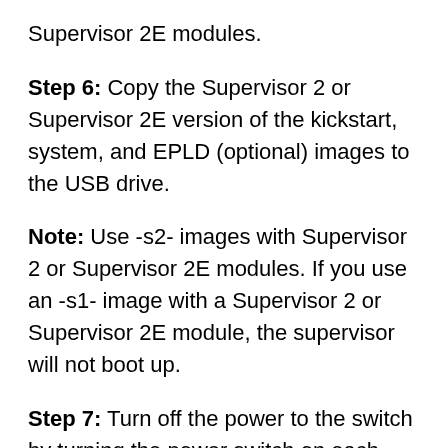Supervisor 2E modules.
Step 6: Copy the Supervisor 2 or Supervisor 2E version of the kickstart, system, and EPLD (optional) images to the USB drive.
Note: Use -s2- images with Supervisor 2 or Supervisor 2E modules. If you use an -s1- image with a Supervisor 2 or Supervisor 2E module, the supervisor will not boot up.
Step 7: Turn off the power to the switch by turning the power switch on each power supply from ON to STBY (Standby). The Output LED turns off on each power supply